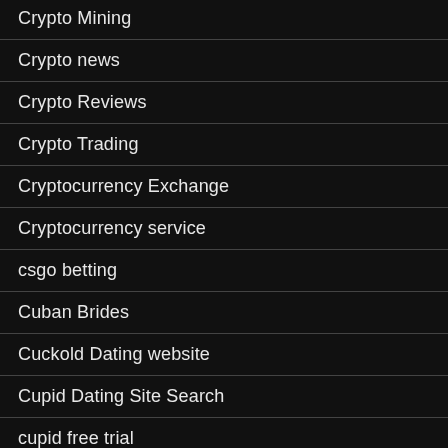Crypto Mining
Crypto news
Crypto Reviews
Crypto Trading
Cryptocurrency Exchange
Cryptocurrency service
csgo betting
Cuban Brides
Cuckold Dating website
Cupid Dating Site Search
cupid free trial
cupid log in
curves connect app